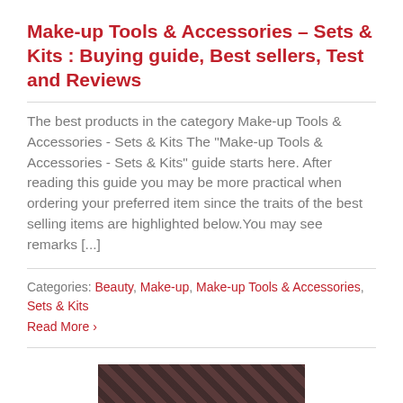Make-up Tools & Accessories – Sets & Kits : Buying guide, Best sellers, Test and Reviews
The best products in the category Make-up Tools & Accessories - Sets & Kits The "Make-up Tools & Accessories - Sets & Kits" guide starts here. After reading this guide you may be more practical when ordering your preferred item since the traits of the best selling items are highlighted below.You may see remarks [...]
Categories: Beauty, Make-up, Make-up Tools & Accessories, Sets & Kits
Read More ›
[Figure (photo): Partially visible image of make-up tools/accessories at the bottom of the page]